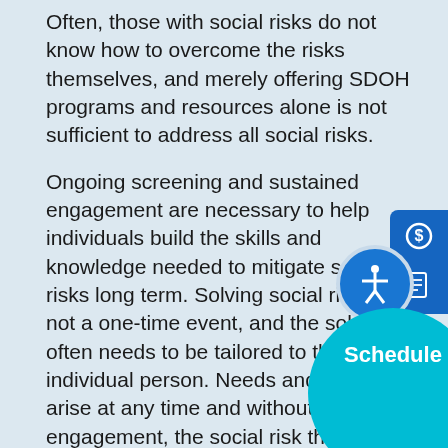Often, those with social risks do not know how to overcome the risks themselves, and merely offering SDOH programs and resources alone is not sufficient to address all social risks.
Ongoing screening and sustained engagement are necessary to help individuals build the skills and knowledge needed to mitigate social risks long term. Solving social risks is not a one-time event, and the solution often needs to be tailored to the individual person. Needs and risks can arise at any time and without engagement, the social risk these members face will not get resolved. Those with identified social risks need to learn how to address those risks and to be taught how to address social risks on their own so they have the knowledge and skills to manage challenges independently when futu...
[Figure (other): UI overlay elements: blue pill buttons, accessibility circle icon, scroll-up cyan circle, and a Schedule cyan circle button partially visible at bottom-right corner]